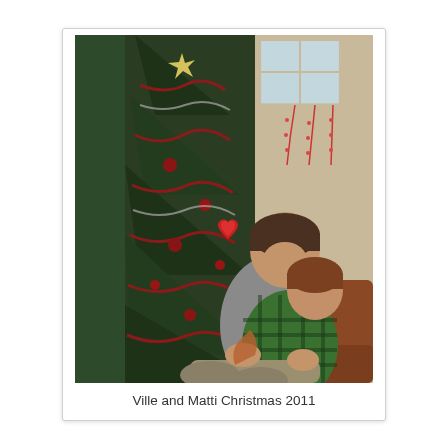[Figure (photo): A man sitting in a brown armchair holding a young child wearing a green and black plaid shirt. They are seated in front of a decorated Christmas tree with red ornaments and tinsel. In the background there is a window with hanging decorative lights.]
Ville and Matti Christmas 2011